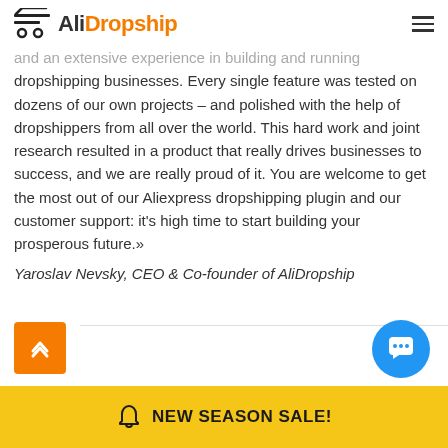AliDropship
and an extensive experience in building and running dropshipping businesses. Every single feature was tested on dozens of our own projects – and polished with the help of dropshippers from all over the world. This hard work and joint research resulted in a product that really drives businesses to success, and we are really proud of it. You are welcome to get the most out of our Aliexpress dropshipping plugin and our customer support: it's high time to start building your prosperous future.»
Yaroslav Nevsky, CEO & Co-founder of AliDropship
NEW SEASON SALE!